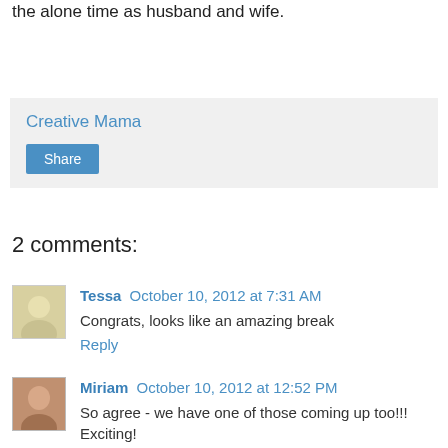the alone time as husband and wife.
Creative Mama
Share
2 comments:
Tessa October 10, 2012 at 7:31 AM
Congrats, looks like an amazing break
Reply
Miriam October 10, 2012 at 12:52 PM
So agree - we have one of those coming up too!!! Exciting!
Reply